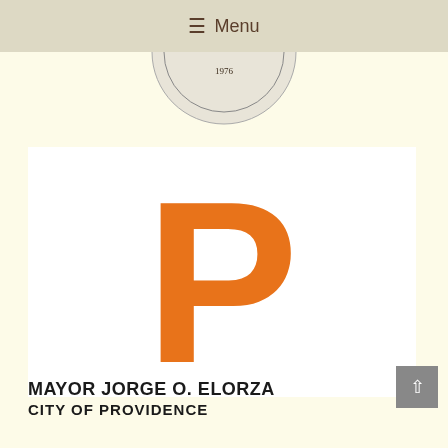≡ Menu
[Figure (logo): City seal partial view showing '1976' and text 'king Back, Moving For' (Looking Back, Moving Forward) in circular arrangement]
[Figure (logo): Large orange letter P on white background — Providence city logo]
MAYOR JORGE O. ELORZA
CITY OF PROVIDENCE